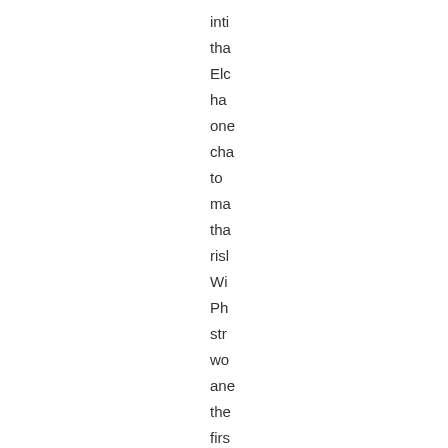inti
tha
Elc
ha
one
cha
to
ma
tha
risl
Wi
Ph
str
wo
ane
the
firs